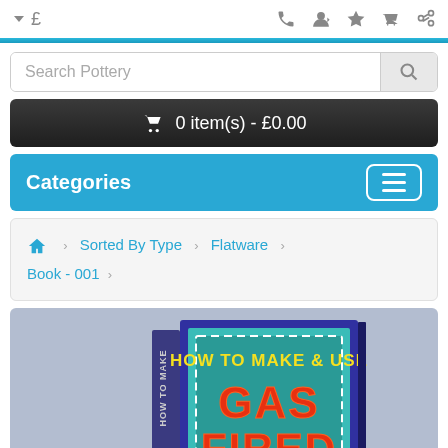▼ £  [phone] [user] [star] [cart] [share]
Search Pottery
🛒 0 item(s) - £0.00
Categories
🏠 > Sorted By Type > Flatware > Book - 001 >
[Figure (photo): Book cover for 'How To Make & Use Gas Fired...' shown as a 3D book with blue/purple cover, displayed on a grey-blue background. The cover text reads 'HOW TO MAKE & USE' at the top in yellow, and 'GAS FIRED' in large red/orange letters at the bottom.]